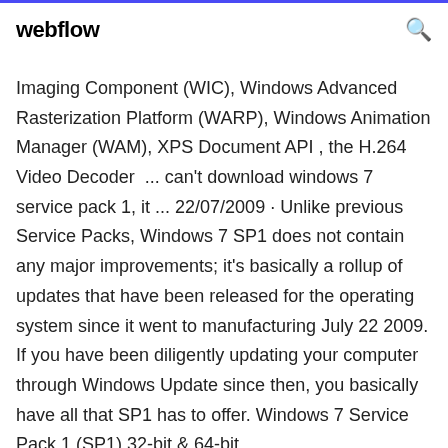webflow
Imaging Component (WIC), Windows Advanced Rasterization Platform (WARP), Windows Animation Manager (WAM), XPS Document API , the H.264 Video Decoder ... can't download windows 7 service pack 1, it ... 22/07/2009 · Unlike previous Service Packs, Windows 7 SP1 does not contain any major improvements; it's basically a rollup of updates that have been released for the operating system since it went to manufacturing July 22 2009. If you have been diligently updating your computer through Windows Update since then, you basically have all that SP1 has to offer. Windows 7 Service Pack 1 (SP1) 32-bit & 64-bit ...